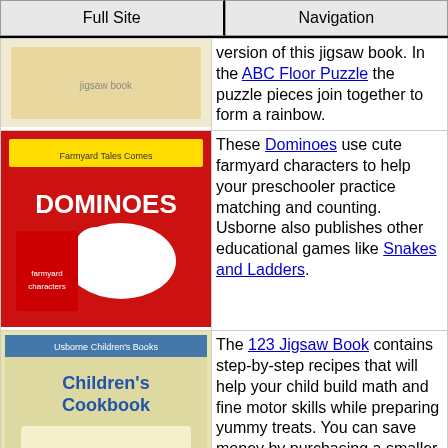Full Site | Navigation
version of this jigsaw book. In the ABC Floor Puzzle the puzzle pieces join together to form a rainbow.
[Figure (photo): Book cover image - jigsaw book]
These Dominoes use cute farmyard characters to help your preschooler practice matching and counting. Usborne also publishes other educational games like Snakes and Ladders.
[Figure (photo): Dominoes book cover - red background with farmyard animals]
The 123 Jigsaw Book contains step-by-step recipes that will help your child build math and fine motor skills while preparing yummy treats. You can save money by purchasing a smaller, hardback miniature edition of this book.
[Figure (photo): Children's Cookbook cover]
There's a Mouse About the House is my children's favorite Usborne book! This book contains a cardboard mouse that children move through slots and flaps in the book. As you read the book, your child learns prepositional terms like in, out, under and through.
[Figure (photo): There's a Mouse About the House book cover]